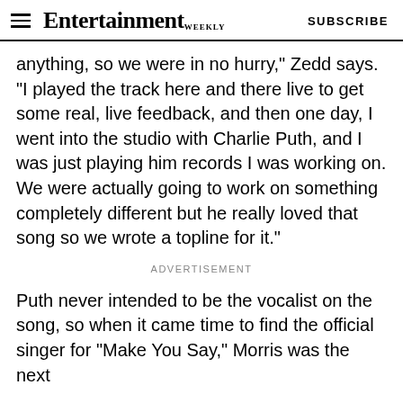Entertainment Weekly  SUBSCRIBE
anything, so we were in no hurry," Zedd says. "I played the track here and there live to get some real, live feedback, and then one day, I went into the studio with Charlie Puth, and I was just playing him records I was working on. We were actually going to work on something completely different but he really loved that song so we wrote a topline for it."
ADVERTISEMENT
Puth never intended to be the vocalist on the song, so when it came time to find the official singer for "Make You Say," Morris was the next